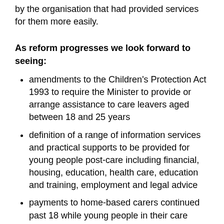by the organisation that had provided services for them more easily.
As reform progresses we look forward to seeing:
amendments to the Children's Protection Act 1993 to require the Minister to provide or arrange assistance to care leavers aged between 18 and 25 years
definition of a range of information services and practical supports to be provided for young people post-care including financial, housing, education, health care, education and training, employment and legal advice
payments to home-based carers continued past 18 while young people in their care pursue education and training
review of the service model for care leavers to align with the National Approach